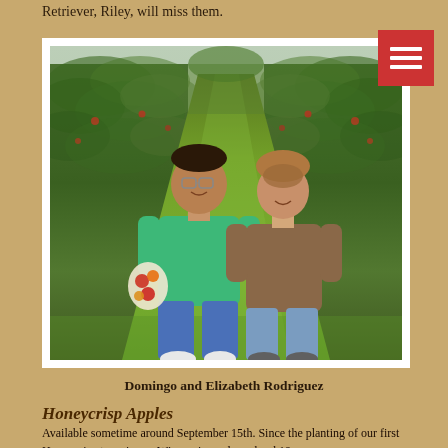Retriever, Riley, will miss them.
[Figure (photo): Domingo and Elizabeth Rodriguez standing together in an apple orchard with rows of apple trees on both sides and a grass path behind them. Domingo is on the left wearing a green polo shirt and holding a bag of apples. Elizabeth is on the right wearing a brown top and jeans.]
Domingo and Elizabeth Rodriguez
Honeycrisp Apples
Available sometime around September 15th. Since the planting of our first Honeycrisp trees in our Wisconsin apple orchard 19 years